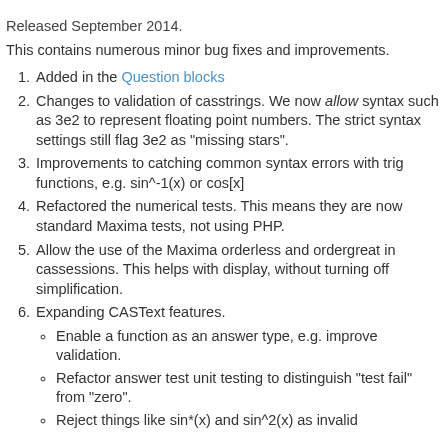Released September 2014.
This contains numerous minor bug fixes and improvements.
Added in the Question blocks
Changes to validation of casstrings. We now allow syntax such as 3e2 to represent floating point numbers. The strict syntax settings still flag 3e2 as "missing stars".
Improvements to catching common syntax errors with trig functions, e.g. sin^-1(x) or cos[x]
Refactored the numerical tests. This means they are now standard Maxima tests, not using PHP.
Allow the use of the Maxima orderless and ordergreat in cassessions. This helps with display, without turning off simplification.
Expanding CASText features.
Enable a function as an answer type, e.g. improve validation.
Refactor answer test unit testing to distinguish "test fail" from "zero".
Reject things like sin*(x) and sin^2(x) as invalid